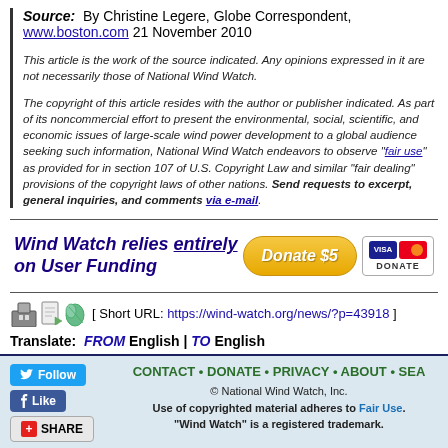Source: By Christine Legere, Globe Correspondent, www.boston.com 21 November 2010
This article is the work of the source indicated. Any opinions expressed in it are not necessarily those of National Wind Watch.
The copyright of this article resides with the author or publisher indicated. As part of its noncommercial effort to present the environmental, social, scientific, and economic issues of large-scale wind power development to a global audience seeking such information, National Wind Watch endeavors to observe "fair use" as provided for in section 107 of U.S. Copyright Law and similar "fair dealing" provisions of the copyright laws of other nations. Send requests to excerpt, general inquiries, and comments via e-mail.
[Figure (infographic): Wind Watch donation banner with text 'Wind Watch relies entirely on User Funding', a Donate $5 button, and Visa/Mastercard logos]
[ Short URL: https://wind-watch.org/news/?p=43918 ]
Translate: FROM English | TO English
« Later Post • News Watch Home • Earlier Post »
CONTACT • DONATE • PRIVACY • ABOUT • SEA... © National Wind Watch, Inc. Use of copyrighted material adheres to Fair Use. "Wind Watch" is a registered trademark.